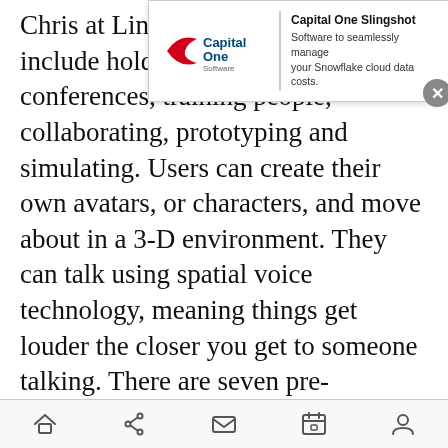Chris... at Linde... and Life Enterprise include holding meetings, staging conferences, training people, collaborating, prototyping and simulating. Users can create their own avatars, or characters, and move about in a 3-D environment. They can talk using spatial voice technology, meaning things get louder the closer you get to someone talking. There are seven pre-packaged virtual regions for enterprise users to explore, including an all-hands auditorium, two conference centers, and a number of other spaces.
Administrators can oversee the virtual environment. The marketplace will let customers
[Figure (screenshot): Capital One Slingshot advertisement banner: logo on left with Capital One Software branding and red swoosh, text on right reading 'Capital One Slingshot - Software to seamlessly manage your Snowflake cloud data costs.' with a close (X) button.]
[Figure (other): Mobile browser bottom navigation bar with home, share, mail, calendar, and profile icons.]